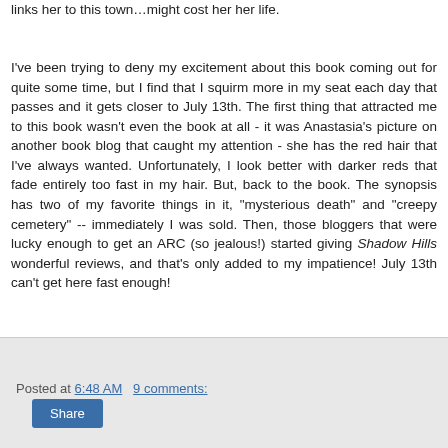links her to this town…might cost her her life.
I've been trying to deny my excitement about this book coming out for quite some time, but I find that I squirm more in my seat each day that passes and it gets closer to July 13th. The first thing that attracted me to this book wasn't even the book at all - it was Anastasia's picture on another book blog that caught my attention - she has the red hair that I've always wanted. Unfortunately, I look better with darker reds that fade entirely too fast in my hair. But, back to the book. The synopsis has two of my favorite things in it, "mysterious death" and "creepy cemetery" -- immediately I was sold. Then, those bloggers that were lucky enough to get an ARC (so jealous!) started giving Shadow Hills wonderful reviews, and that's only added to my impatience! July 13th can't get here fast enough!
Posted at 6:48 AM   9 comments:
Share